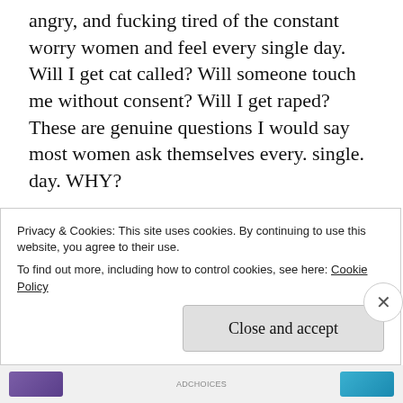The reason I am writing this post is because I'm angry, and fucking tired of the constant worry women and feel every single day. Will I get cat called? Will someone touch me without consent? Will I get raped? These are genuine questions I would say most women ask themselves every. single. day. WHY?
Throughout our whole lives we are told, “don’t have your skirt too high”, “your boobs need to be covered more”, “too much make up might give the wrong impression”, and it’s always, always for the [clipped]
Privacy & Cookies: This site uses cookies. By continuing to use this website, you agree to their use.
To find out more, including how to control cookies, see here: Cookie Policy
Close and accept